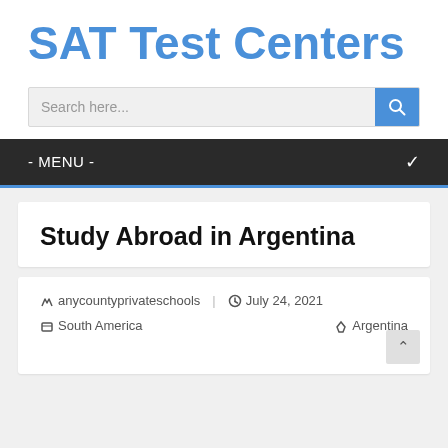SAT Test Centers
Search here...
- MENU -
Study Abroad in Argentina
anycountyprivateschools | July 24, 2021
South America  Argentina